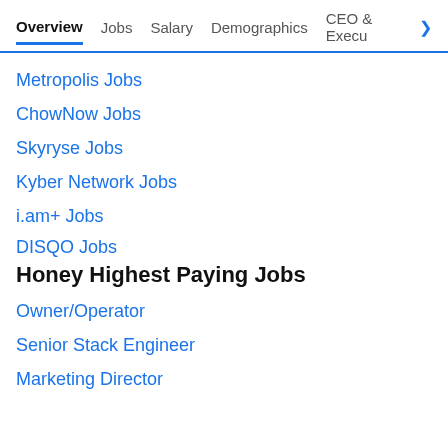Overview  Jobs  Salary  Demographics  CEO & Execu>
Metropolis Jobs
ChowNow Jobs
Skyryse Jobs
Kyber Network Jobs
i.am+ Jobs
DISQO Jobs
Honey Highest Paying Jobs
Owner/Operator
Senior Stack Engineer
Marketing Director